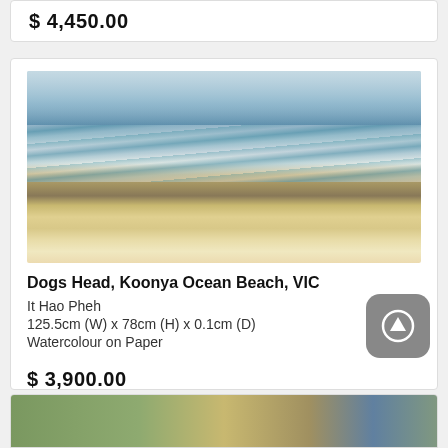$ 4,450.00
[Figure (illustration): Watercolour painting of Dogs Head, Koonya Ocean Beach VIC — ocean waves washing over a sandy beach with dune grasses and a small dog figure, painted in blues, greens, and sandy tones]
Dogs Head, Koonya Ocean Beach, VIC
It Hao Pheh
125.5cm (W) x 78cm (H) x 0.1cm (D)
Watercolour on Paper
$ 3,900.00